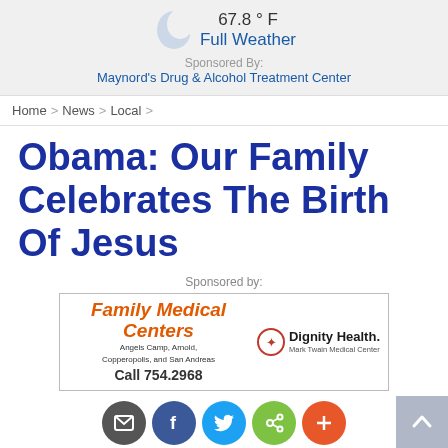67.8 °F Full Weather Sponsored By: Maynord's Drug & Alcohol Treatment Center
Home > News > Local >
Obama: Our Family Celebrates The Birth Of Jesus
Sponsored by:
[Figure (other): Family Medical Centers ad with Dignity Health Mark Twain Medical Center logo. Call 754.2968. Angels Camp, Arnold, Copperopolis, and San Andreas.]
[Figure (other): Social sharing icons: email, Facebook, Twitter, link, plus button]
By Mark Truppner — Published Dec 28, 2015 06:00 am